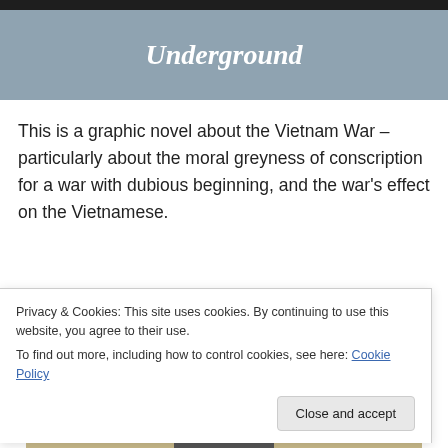[Figure (photo): Partial top bar of a dark image, cropped at the very top of the page]
Underground
This is a graphic novel about the Vietnam War – particularly about the moral greyness of conscription for a war with dubious beginning, and the war's effect on the Vietnamese.
[Figure (illustration): Illustrated character with dark hair and brown skin, tan/beige background, partially visible]
Privacy & Cookies: This site uses cookies. By continuing to use this website, you agree to their use.
To find out more, including how to control cookies, see here: Cookie Policy
Close and accept